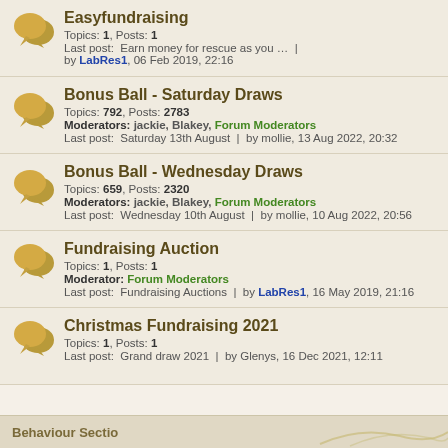Easyfundraising — Topics: 1, Posts: 1. Last post: Earn money for rescue as you … | by LabRes1, 06 Feb 2019, 22:16
Bonus Ball - Saturday Draws — Topics: 792, Posts: 2783. Moderators: jackie, Blakey, Forum Moderators. Last post: Saturday 13th August | by mollie, 13 Aug 2022, 20:32
Bonus Ball - Wednesday Draws — Topics: 659, Posts: 2320. Moderators: jackie, Blakey, Forum Moderators. Last post: Wednesday 10th August | by mollie, 10 Aug 2022, 20:56
Fundraising Auction — Topics: 1, Posts: 1. Moderator: Forum Moderators. Last post: Fundraising Auctions | by LabRes1, 16 May 2019, 21:16
Christmas Fundraising 2021 — Topics: 1, Posts: 1. Last post: Grand draw 2021 | by Glenys, 16 Dec 2021, 12:11
Behaviour Section